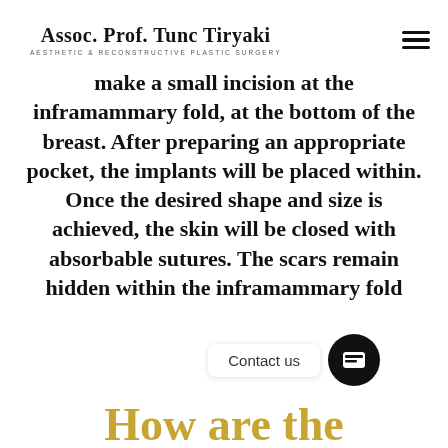Assoc. Prof. Tunc Tiryaki | AESTHETIC & RECONSTRUCTIVE PLASTIC SURGERY
make a small incision at the inframammary fold, at the bottom of the breast. After preparing an appropriate pocket, the implants will be placed within. Once the desired shape and size is achieved, the skin will be closed with absorbable sutures. The scars remain hidden within the inframammary fold
Contact us
How are the